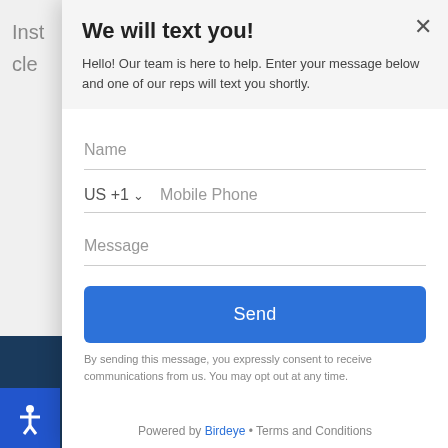[Figure (screenshot): Background webpage text partially visible behind modal, showing partial words 'Inst' and 'cle']
We will text you!
Hello! Our team is here to help. Enter your message below and one of our reps will text you shortly.
Name
US +1   Mobile Phone
Message
Send
By sending this message, you expressly consent to receive communications from us. You may opt out at any time.
Powered by Birdeye • Terms and Conditions